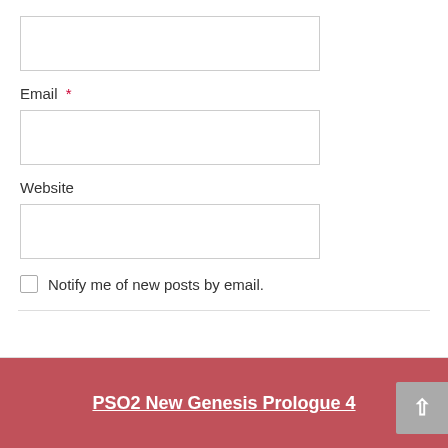Email *
Website
Notify me of new posts by email.
POST COMMENT
PSO2 New Genesis Prologue 4